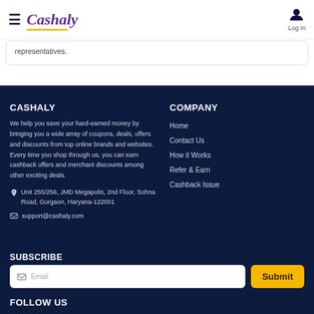Cashaly | Log In
representatives.
CASHALY
We help you save your hard-earned money by bringing you a wide array of coupons, deals, offers and discounts from top online brands and websites. Every time you shop through us, you can earn cashback offers and merchant discounts among other exciting deals.
Unit 255/256, JMD Megapolis, 2nd Floor, Sohna Road, Gurgaon, Haryana-122001
support@cashaly.com
COMPANY
Home
Contact Us
How it Works
Refer & Earn
Cashback Issue
SUBSCRIBE
Email  Submit
FOLLOW US